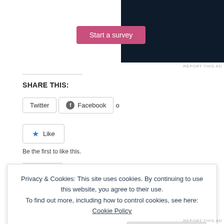[Figure (screenshot): Dark navy ad banner with pink 'Start a survey' button and Crowdsignal circular logo on the right]
REPORT THIS AD
SHARE THIS:
[Figure (screenshot): Social sharing buttons: Twitter, Facebook (with icon), and 'o' button]
[Figure (screenshot): Like button with blue star icon]
Be the first to like this.
Privacy & Cookies: This site uses cookies. By continuing to use this website, you agree to their use.
To find out more, including how to control cookies, see here: Cookie Policy
Close and accept